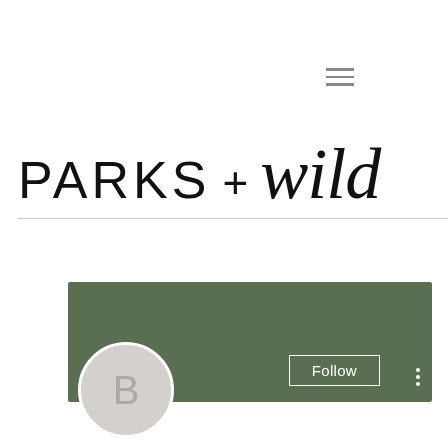[Figure (other): Hamburger menu icon (three horizontal lines) in top right area]
PARKS + wild
[Figure (screenshot): Social media profile card with dark green banner, circular avatar with letter B, Follow button, and three-dot menu]
Bitstarz casino affiliates, bitst…
0 Followers • 0 Following